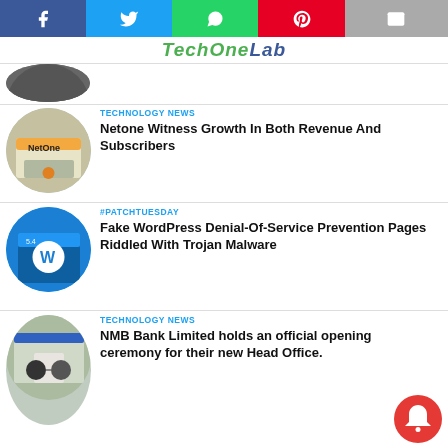[Figure (infographic): Social share buttons: Facebook (blue), Twitter (blue), WhatsApp (green), Pinterest (red), Email (grey)]
[Figure (logo): TechOneLab logo in italic green and blue]
[Figure (photo): Circular thumbnail of NetOne storefront]
TECHNOLOGY NEWS
Netone Witness Growth In Both Revenue And Subscribers
[Figure (photo): Circular thumbnail of WordPress icon on blue screen]
#PATCHTUESDAY
Fake WordPress Denial-Of-Service Prevention Pages Riddled With Trojan Malware
[Figure (photo): Circular thumbnail of two people shaking hands in front of NMB Bank building]
TECHNOLOGY NEWS
NMB Bank Limited holds an official opening ceremony for their new Head Office.